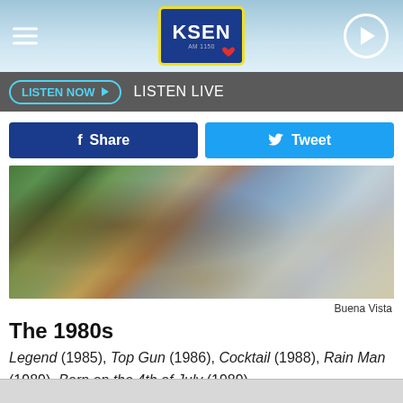[Figure (screenshot): KSEN radio station website header with logo, hamburger menu, and play button on a light blue gradient background]
LISTEN NOW ▶  LISTEN LIVE
[Figure (photo): Person in a blue floral shirt at a bar counter, Buena Vista attribution]
Buena Vista
The 1980s
Legend (1985), Top Gun (1986), Cocktail (1988), Rain Man (1989), Born on the 4th of July (1989)